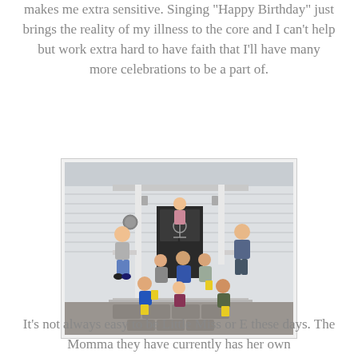makes me extra sensitive. Singing "Happy Birthday" just brings the reality of my illness to the core and I can't help but work extra hard to have faith that I'll have many more celebrations to be a part of.
[Figure (photo): Group photo of approximately 10 children and teenagers posing on the front porch/steps of a white house. Some are sitting on railings, some standing, some crouching. Several hold yellow gift bags.]
It's not always easy to be Little Miss or E these days. The Momma they have currently has her own